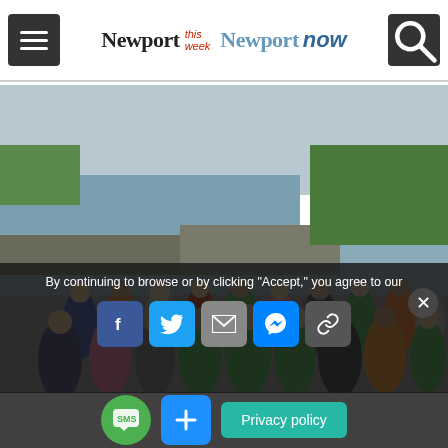Newport This Week | Newport Now
[Figure (photo): Large group of runners on a coastal road during a road race, ocean and rocky coastline visible in background, overcast sky, participants wearing colorful running gear]
By continuing to browse or by clicking "Accept," you agree to our
Privacy policy